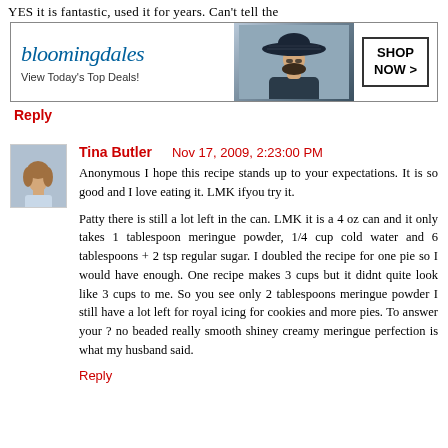YES it is fantastic, used it for years. Can't tell the
[Figure (other): Bloomingdale's advertisement banner with logo, 'View Today's Top Deals!' tagline, woman in sun hat photo, and 'SHOP NOW >' button]
Reply
[Figure (photo): Small avatar photo of Tina Butler, a woman with light brown hair]
Tina Butler    Nov 17, 2009, 2:23:00 PM
Anonymous I hope this recipe stands up to your expectations. It is so good and I love eating it. LMK ifyou try it.

Patty there is still a lot left in the can. LMK it is a 4 oz can and it only takes 1 tablespoon meringue powder, 1/4 cup cold water and 6 tablespoons + 2 tsp regular sugar. I doubled the recipe for one pie so I would have enough. One recipe makes 3 cups but it didnt quite look like 3 cups to me. So you see only 2 tablespoons meringue powder I still have a lot left for royal icing for cookies and more pies. To answer your ? no beaded really smooth shiney creamy meringue perfection is what my husband said.
Reply